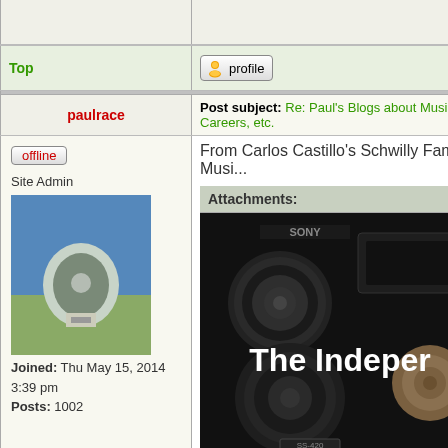Top
profile
paulrace
Post subject: Re: Paul's Blogs about Music Careers, etc.
offline
Site Admin
Joined: Thu May 15, 2014 3:39 pm
Posts: 1002
From Carlos Castillo's Schwilly Family Musi...
Attachments:
[Figure (photo): Photo of a Sony speaker/stereo system with text overlay reading 'The Indeper...' in white bold font on a dark background]